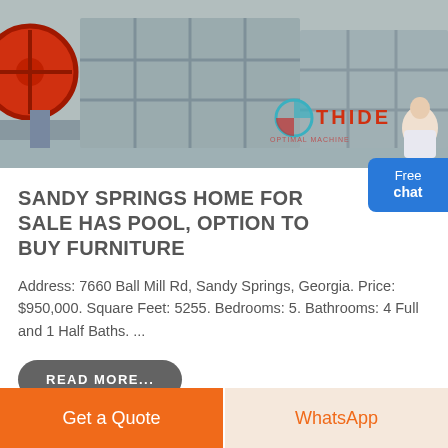[Figure (photo): Photo of industrial equipment with gray shelving/storage units and a red wheel visible on the left. A 'THIDE' watermark and logo appear in the lower right of the image. An agent figure is visible at right edge.]
SANDY SPRINGS HOME FOR SALE HAS POOL, OPTION TO BUY FURNITURE
Address: 7660 Ball Mill Rd, Sandy Springs, Georgia. Price: $950,000. Square Feet: 5255. Bedrooms: 5. Bathrooms: 4 Full and 1 Half Baths. ...
READ MORE...